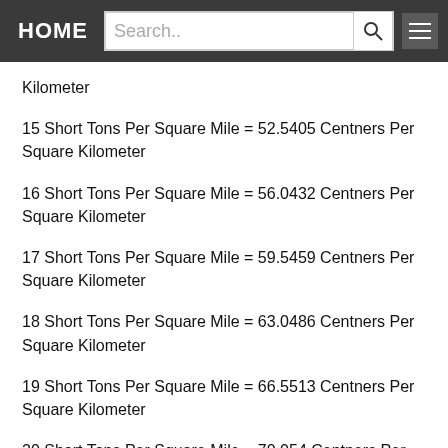HOME | Search..
Kilometer
15 Short Tons Per Square Mile = 52.5405 Centners Per Square Kilometer
16 Short Tons Per Square Mile = 56.0432 Centners Per Square Kilometer
17 Short Tons Per Square Mile = 59.5459 Centners Per Square Kilometer
18 Short Tons Per Square Mile = 63.0486 Centners Per Square Kilometer
19 Short Tons Per Square Mile = 66.5513 Centners Per Square Kilometer
20 Short Tons Per Square Mile = 70.054 Centners Per Square Kilometer